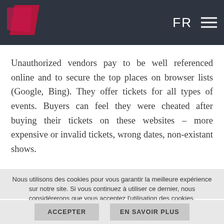[Figure (logo): Red/pink angular logo shape (parallelogram) in top-left header area]
FR ☰
Unauthorized vendors pay to be well referenced online and to secure the top places on browser lists (Google, Bing). They offer tickets for all types of events. Buyers can feel they were cheated after buying their tickets on these websites – more expensive or invalid tickets, wrong dates, non-existant shows.
Nous utilisons des cookies pour vous garantir la meilleure expérience sur notre site. Si vous continuez à utiliser ce dernier, nous considérerons que vous acceptez l'utilisation des cookies.
ACCEPTER    EN SAVOIR PLUS